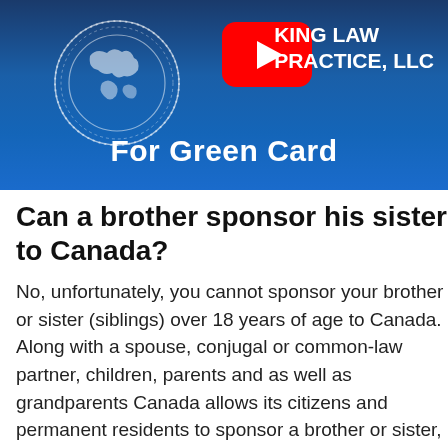[Figure (screenshot): YouTube video thumbnail for a law firm video. Blue gradient background with a globe icon on the left, YouTube play button in the center-left, and the text 'KING LAW PRACTICE, LLC' on the right. Large bold white text at the bottom reads 'For Green Card'.]
Can a brother sponsor his sister to Canada?
No, unfortunately, you cannot sponsor your brother or sister (siblings) over 18 years of age to Canada. ... Along with a spouse, conjugal or common-law partner, children, parents and as well as grandparents Canada allows its citizens and permanent residents to sponsor a brother or sister, nephew or niece.